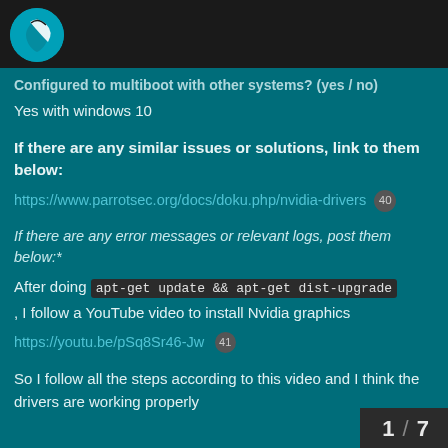[Parrot OS logo]
Configured to multiboot with other systems? (yes / no)
Yes with windows 10
If there are any similar issues or solutions, link to them below:
https://www.parrotsec.org/docs/doku.php/nvidia-drivers 40
If there are any error messages or relevant logs, post them below:*
After doing apt-get update && apt-get dist-upgrade , I follow a YouTube video to install Nvidia graphics https://youtu.be/pSq8Sr46-Jw 41
So I follow all the steps according to this video and I think the drivers are working properly
1 / 7